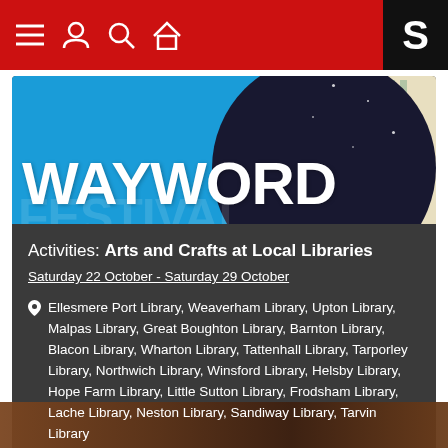Navigation bar with menu, user, search, home icons and S logo
[Figure (illustration): WAYWORD festival logo banner with blue and dark sky background]
Activities: Arts and Crafts at Local Libraries
Saturday 22 October - Saturday 29 October
Ellesmere Port Library, Weaverham Library, Upton Library, Malpas Library, Great Boughton Library, Barnton Library, Blacon Library, Wharton Library, Tattenhall Library, Tarporley Library, Northwich Library, Winsford Library, Helsby Library, Hope Farm Library, Little Sutton Library, Frodsham Library, Lache Library, Neston Library, Sandiway Library, Tarvin Library
Arts and crafts activities happening at libraries across Chester and Cheshire West as part of WayWord Festival.
[Figure (photo): Partial photo visible at the bottom of the page]